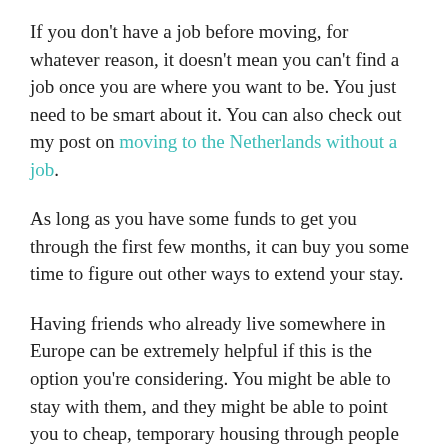If you don't have a job before moving, for whatever reason, it doesn't mean you can't find a job once you are where you want to be. You just need to be smart about it. You can also check out my post on moving to the Netherlands without a job.
As long as you have some funds to get you through the first few months, it can buy you some time to figure out other ways to extend your stay.
Having friends who already live somewhere in Europe can be extremely helpful if this is the option you're considering. You might be able to stay with them, and they might be able to point you to cheap, temporary housing through people that they know.
This is actually the route I took. When I decided I was moving to the Netherlands, I had enough money saved up to last me for about 6 months. I had no